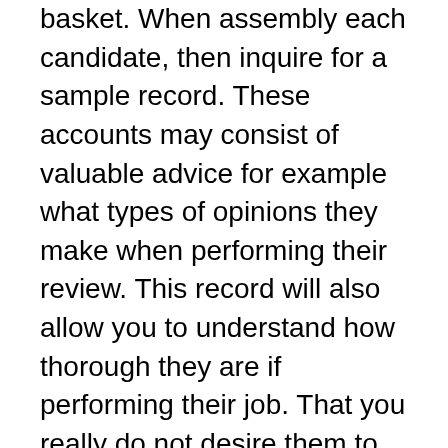basket. When assembly each candidate, then inquire for a sample record. These accounts may consist of valuable advice for example what types of opinions they make when performing their review. This record will also allow you to understand how thorough they are if performing their job. That you really do not desire them to abandon any stones unturned when it comes to your own home.
Their studies should still be effortless to learn. A long report doesn't necessarily mean they've completed a superior job. Ensure the data isn't hard to learn and comprehend. For those who have any questions concerning things they typically keep in their reports, then be certain that you inquire!